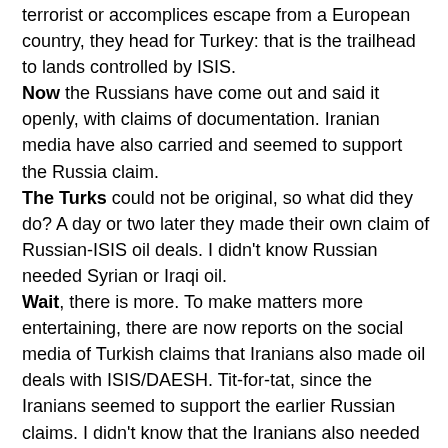terrorist or accomplices escape from a European country, they head for Turkey: that is the trailhead to lands controlled by ISIS.
Now the Russians have come out and said it openly, with claims of documentation. Iranian media have also carried and seemed to support the Russia claim.
The Turks could not be original, so what did they do? A day or two later they made their own claim of Russian-ISIS oil deals. I didn't know Russian needed Syrian or Iraqi oil.
Wait, there is more. To make matters more entertaining, there are now reports on the social media of Turkish claims that Iranians also made oil deals with ISIS/DAESH. Tit-for-tat, since the Iranians seemed to support the earlier Russian claims. I didn't know that the Iranians also needed Syrian or Iraqi oil. I had thought they spent the past few years trying to sell more of their own oil, not buy foreign oil from their Wahhabi enemies.
What next? Turkish claims of Iranian deals to buy Aleppo pistachios from ISIS? Iranian claims of Saudi oil deals with ISIS?